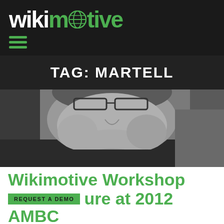[Figure (logo): Wikimotive logo — 'wiki' in white bold text, globe icon in green, 'otive' in green bold text, on dark background]
[Figure (other): Hamburger menu icon — three green horizontal bars on dark background]
TAG: MARTELL
[Figure (photo): Black and white close-up photograph of a man wearing glasses, showing upper face area]
Wikimotive Workshop Feature at 2012 AMBC
REQUEST A DEMO